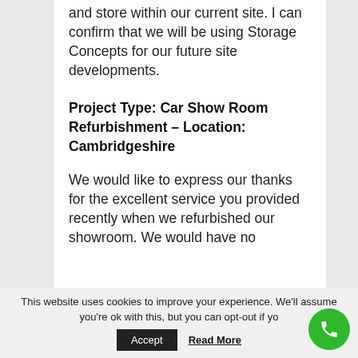and store within our current site. I can confirm that we will be using Storage Concepts for our future site developments.
Project Type: Car Show Room Refurbishment – Location: Cambridgeshire
We would like to express our thanks for the excellent service you provided recently when we refurbished our showroom. We would have no
This website uses cookies to improve your experience. We'll assume you're ok with this, but you can opt-out if yo
Accept
Read More